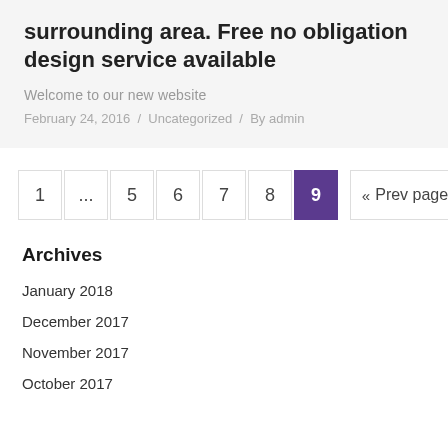surrounding area. Free no obligation design service available
Welcome to our new website
February 24, 2016 / Uncategorized / By admin
Pagination: 1 … 5 6 7 8 9 (current) « Prev page
Archives
January 2018
December 2017
November 2017
October 2017